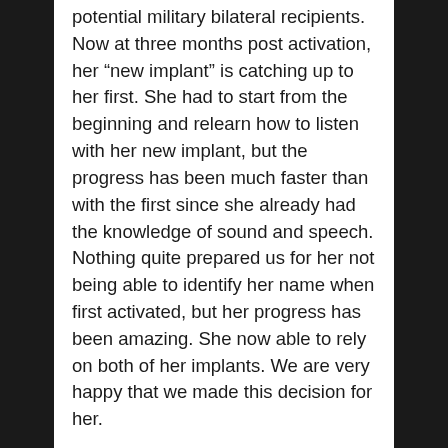potential military bilateral recipients. Now at three months post activation, her “new implant” is catching up to her first. She had to start from the beginning and relearn how to listen with her new implant, but the progress has been much faster than with the first since she already had the knowledge of sound and speech. Nothing quite prepared us for her not being able to identify her name when first activated, but her progress has been amazing. She now able to rely on both of her implants. We are very happy that we made this decision for her.
Moving Forward
Cameron now attends a private school with her sister. She knows that she hears through cochlear